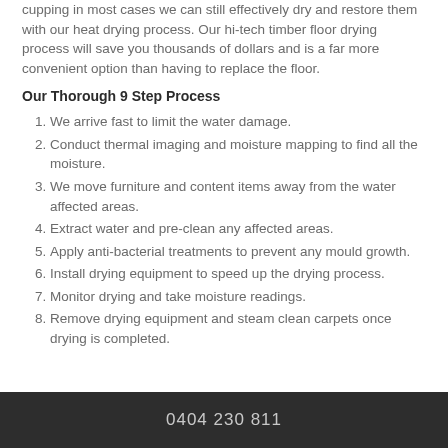cupping in most cases we can still effectively dry and restore them with our heat drying process. Our hi-tech timber floor drying process will save you thousands of dollars and is a far more convenient option than having to replace the floor.
Our Thorough 9 Step Process
We arrive fast to limit the water damage.
Conduct thermal imaging and moisture mapping to find all the moisture.
We move furniture and content items away from the water affected areas.
Extract water and pre-clean any affected areas.
Apply anti-bacterial treatments to prevent any mould growth.
Install drying equipment to speed up the drying process.
Monitor drying and take moisture readings.
Remove drying equipment and steam clean carpets once drying is completed.
0404 230 811